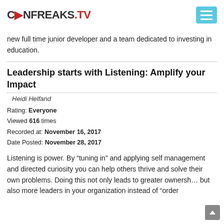CONFREAKS.TV
new full time junior developer and a team dedicated to investing in education.
Leadership starts with Listening: Amplify your Impact
Heidi Helfand
Rating: Everyone
Viewed 616 times
Recorded at: November 16, 2017
Date Posted: November 28, 2017
Listening is power. By “tuning in” and applying self management and directed curiosity you can help others thrive and solve their own problems. Doing this not only leads to greater ownership but also more leaders in your organization instead of “order